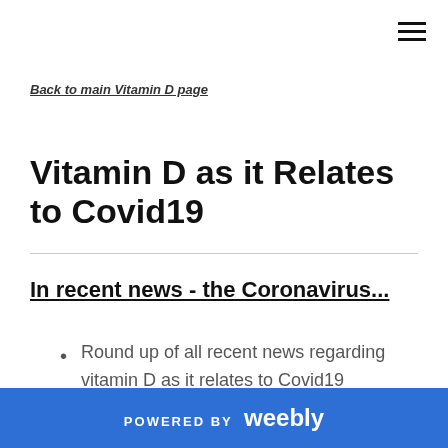≡
Back to main Vitamin D page
Vitamin D as it Relates to Covid19
In recent news - the Coronavirus...
Round up of all recent news regarding vitamin D as it relates to Covid19
POWERED BY weebly